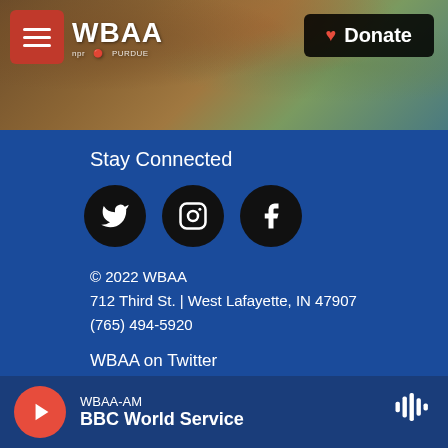[Figure (screenshot): WBAA website header with tree branch background image, hamburger menu, WBAA logo, and Donate button]
Stay Connected
[Figure (other): Social media icons: Twitter, Instagram, Facebook (black circles)]
© 2022 WBAA
712 Third St. | West Lafayette, IN 47907
(765) 494-5920
WBAA on Twitter
WBAA on Facebook
Contact Us
E-Mail News Tips/Ideas
WBAA-AM BBC World Service